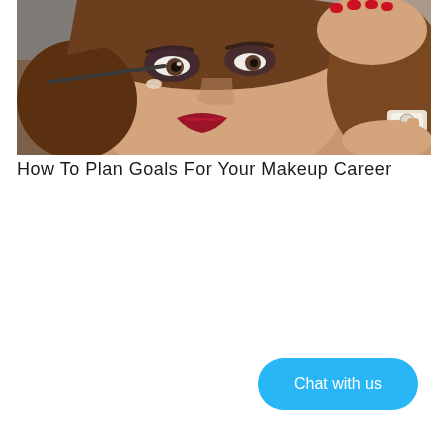[Figure (photo): Close-up photo of a young woman with dramatic eye makeup and red lipstick being applied with a makeup brush, with red-nailed hands visible near her face and a watch on one wrist.]
How To Plan Goals For Your Makeup Career
Chat with us